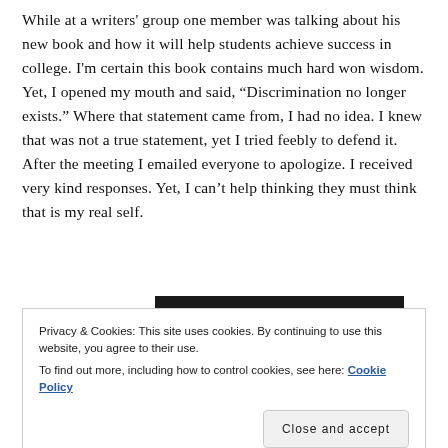While at a writers' group one member was talking about his new book and how it will help students achieve success in college. I'm certain this book contains much hard won wisdom. Yet, I opened my mouth and said, “Discrimination no longer exists.” Where that statement came from, I had no idea. I knew that was not a true statement, yet I tried feebly to defend it. After the meeting I emailed everyone to apologize. I received very kind responses. Yet, I can’t help thinking they must think that is my real self.
Privacy & Cookies: This site uses cookies. By continuing to use this website, you agree to their use.
To find out more, including how to control cookies, see here: Cookie Policy